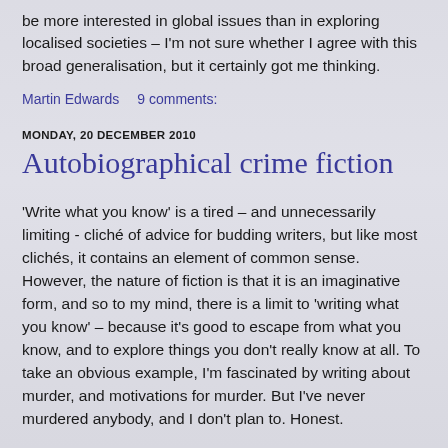be more interested in global issues than in exploring localised societies – I'm not sure whether I agree with this broad generalisation, but it certainly got me thinking.
Martin Edwards    9 comments:
MONDAY, 20 DECEMBER 2010
Autobiographical crime fiction
'Write what you know' is a tired – and unnecessarily limiting - cliché of advice for budding writers, but like most clichés, it contains an element of common sense. However, the nature of fiction is that it is an imaginative form, and so to my mind, there is a limit to 'writing what you know' – because it's good to escape from what you know, and to explore things you don't really know at all. To take an obvious example, I'm fascinated by writing about murder, and motivations for murder. But I've never murdered anybody, and I don't plan to. Honest.